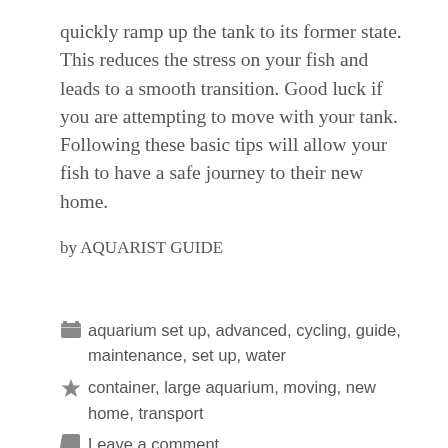quickly ramp up the tank to its former state. This reduces the stress on your fish and leads to a smooth transition. Good luck if you are attempting to move with your tank. Following these basic tips will allow your fish to have a safe journey to their new home.
by AQUARIST GUIDE
aquarium set up, advanced, cycling, guide, maintenance, set up, water
container, large aquarium, moving, new home, transport
Leave a comment